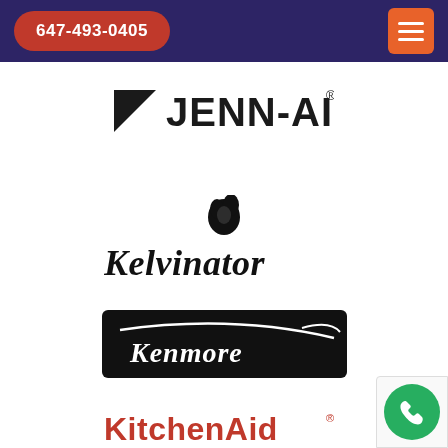647-493-0405
[Figure (logo): Jenn-Air brand logo in black and white]
[Figure (logo): Kelvinator brand logo in black with stylized penguin/flame icon]
[Figure (logo): Kenmore brand logo white text on black background with swoosh]
[Figure (logo): KitchenAid brand logo in red text]